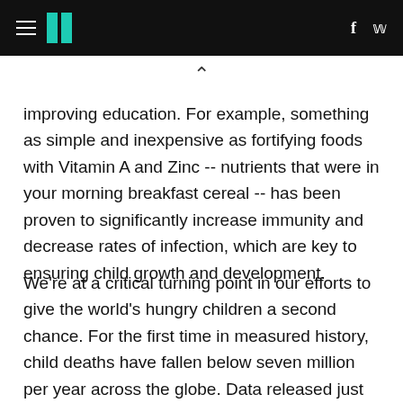HuffPost header with hamburger menu, logo, Facebook and Twitter icons
improving education. For example, something as simple and inexpensive as fortifying foods with Vitamin A and Zinc -- nutrients that were in your morning breakfast cereal -- has been proven to significantly increase immunity and decrease rates of infection, which are key to ensuring child growth and development.
We're at a critical turning point in our efforts to give the world's hungry children a second chance. For the first time in measured history, child deaths have fallen below seven million per year across the globe. Data released just last